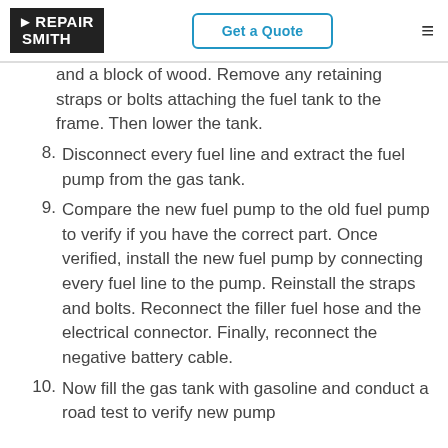RepairSmith | Get a Quote
and a block of wood. Remove any retaining straps or bolts attaching the fuel tank to the frame. Then lower the tank.
8. Disconnect every fuel line and extract the fuel pump from the gas tank.
9. Compare the new fuel pump to the old fuel pump to verify if you have the correct part. Once verified, install the new fuel pump by connecting every fuel line to the pump. Reinstall the straps and bolts. Reconnect the filler fuel hose and the electrical connector. Finally, reconnect the negative battery cable.
10. Now fill the gas tank with gasoline and conduct a road test to verify new pump